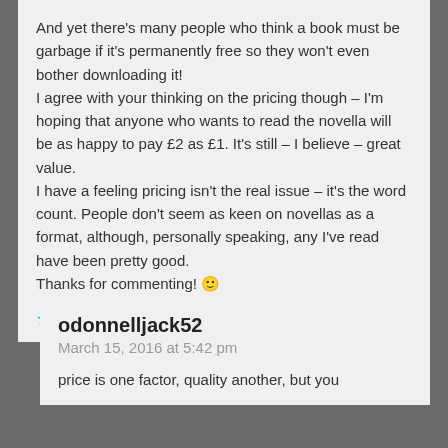And yet there's many people who think a book must be garbage if it's permanently free so they won't even bother downloading it!
I agree with your thinking on the pricing though – I'm hoping that anyone who wants to read the novella will be as happy to pay £2 as £1. It's still – I believe – great value.
I have a feeling pricing isn't the real issue – it's the word count. People don't seem as keen on novellas as a format, although, personally speaking, any I've read have been pretty good.
Thanks for commenting! 🙂
★ Like
odonnelljack52
March 15, 2016 at 5:42 pm
price is one factor, quality another, but you